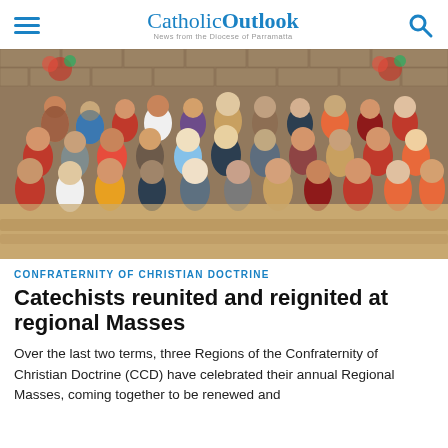CatholicOutlook — News from the Diocese of Parramatta
[Figure (photo): Group photo of approximately 30 catechists standing together inside a church hall with brick walls and floral decorations in the background.]
CONFRATERNITY OF CHRISTIAN DOCTRINE
Catechists reunited and reignited at regional Masses
Over the last two terms, three Regions of the Confraternity of Christian Doctrine (CCD) have celebrated their annual Regional Masses, coming together to be renewed and